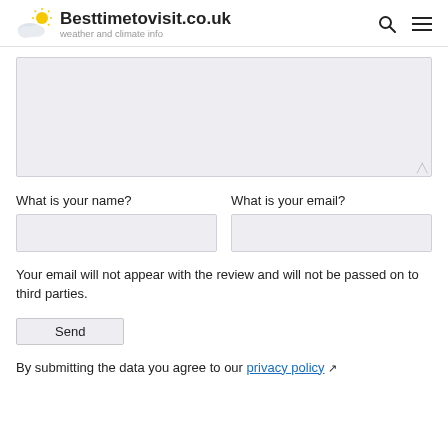Besttimetovisit.co.uk — weather and climate info
[Figure (screenshot): Empty textarea form field with light gray background and resize handle]
What is your name?
What is your email?
Your email will not appear with the review and will not be passed on to third parties.
Send
By submitting the data you agree to our privacy policy ↗